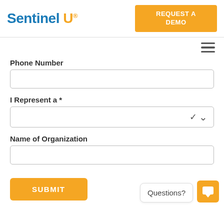[Figure (logo): SentinelU logo with blue 'Sentinel' text and orange 'U' with registered trademark symbol]
REQUEST A DEMO
[Figure (other): Hamburger menu icon (three horizontal lines)]
Phone Number
I Represent a *
Name of Organization
SUBMIT
Questions?